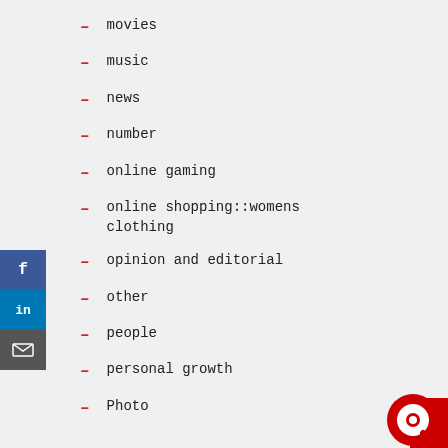movies
music
news
number
online gaming
online shopping::womens clothing
opinion and editorial
other
people
personal growth
Photo